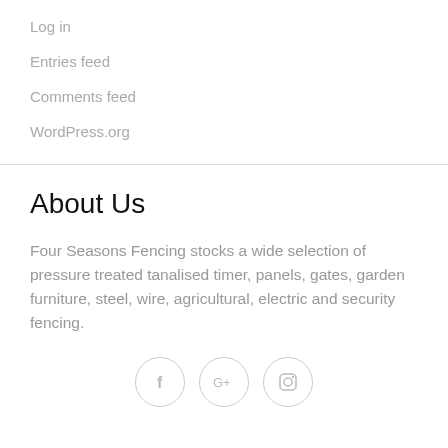Log in
Entries feed
Comments feed
WordPress.org
About Us
Four Seasons Fencing stocks a wide selection of pressure treated tanalised timer, panels, gates, garden furniture, steel, wire, agricultural, electric and security fencing.
[Figure (illustration): Social media icons: Facebook (f), Google+ (G+), Instagram (camera icon), displayed as circular outline buttons]